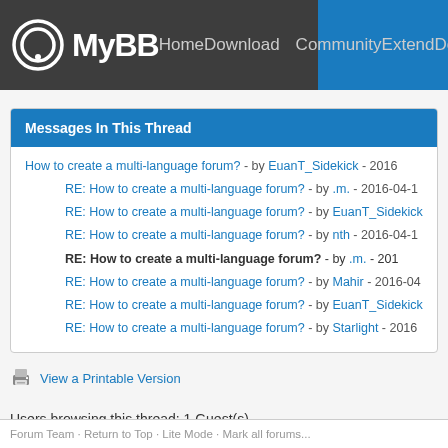MyBB Home Download Community Extend Do...
Messages In This Thread
How to create a multi-language forum? - by EuanT_Sidekick - 2016...
RE: How to create a multi-language forum? - by .m. - 2016-04-1...
RE: How to create a multi-language forum? - by EuanT_Sidekick...
RE: How to create a multi-language forum? - by nth - 2016-04-1...
RE: How to create a multi-language forum? - by .m. - 201... (current, bold)
RE: How to create a multi-language forum? - by Mahir - 2016-04...
RE: How to create a multi-language forum? - by EuanT_Sidekick...
RE: How to create a multi-language forum? - by Starlight - 2016...
View a Printable Version
Users browsing this thread: 1 Guest(s)